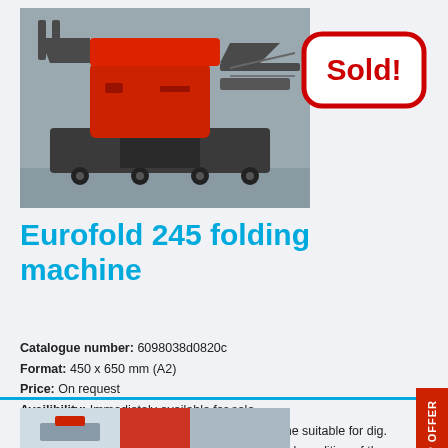[Figure (photo): Photo of Eurofold 245 folding machine, a red and dark grey folding machine on wheels]
[Figure (illustration): Red rounded-rectangle 'Sold!' badge stamp overlaid on upper right of the machine photo]
Eurofold 245 folding machine
Catalogue number: 6098038d0820c
Format: 450 x 650 mm (A2)
Price: On request
Availibility: Immediately available for sale
Brief description: Double-pocket folding machine suitable for dig. studies or small offset printers. Excellent technical condition of the device.
[Figure (photo): Partial bottom photo strip showing another machine or detail view]